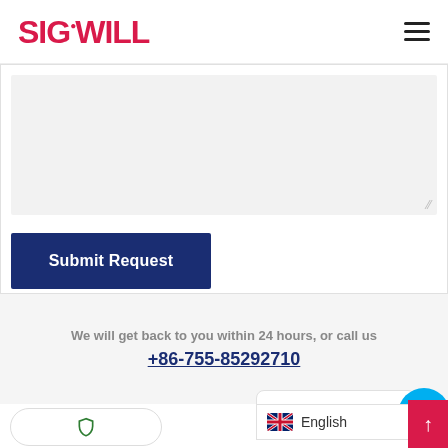SIGOWILL
[Figure (screenshot): Textarea input field with light gray background and resize handle in bottom right corner]
Submit Request
We will get back to you within 24 hours, or call us
+86-755-85292710
[Figure (screenshot): Chat with Us widget and Skype button, language selector showing English with UK flag]
[Figure (screenshot): Shield/privacy badge icon on bottom left]